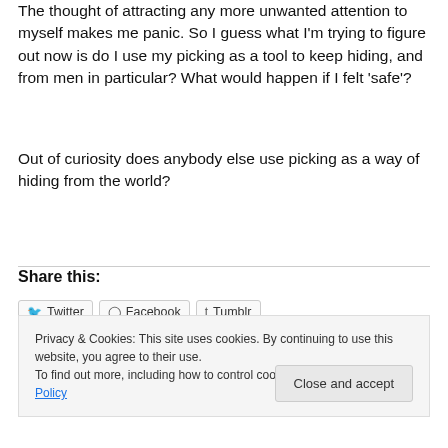The thought of attracting any more unwanted attention to myself makes me panic. So I guess what I'm trying to figure out now is do I use my picking as a tool to keep hiding, and from men in particular? What would happen if I felt 'safe'?
Out of curiosity does anybody else use picking as a way of hiding from the world?
Share this:
Twitter Facebook Tumblr
Privacy & Cookies: This site uses cookies. By continuing to use this website, you agree to their use. To find out more, including how to control cookies, see here: Cookie Policy